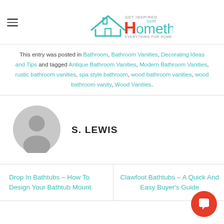Homethangs.com – Get Inspired, Everything For Home
This entry was posted in Bathroom, Bathroom Vanities, Decorating Ideas and Tips and tagged Antique Bathroom Vanities, Modern Bathroom Vanities, rustic bathroom vanities, spa style bathroom, wood bathroom vanities, wood bathroom vanity, Wood Vanities.
S. LEWIS
Drop In Bathtubs – How To Design Your Bathtub Mount
Clawfoot Bathtubs – A Quick And Easy Buyer's Guide